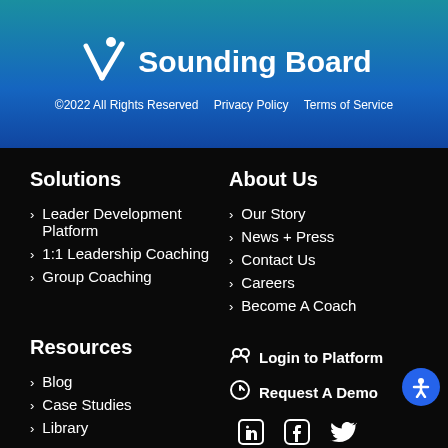[Figure (logo): Sounding Board logo with checkmark icon and white text on blue gradient background]
©2022 All Rights Reserved   Privacy Policy   Terms of Service
Solutions
Leader Development Platform
1:1 Leadership Coaching
Group Coaching
About Us
Our Story
News + Press
Contact Us
Careers
Become A Coach
Resources
Blog
Case Studies
Library
Login to Platform
Request A Demo